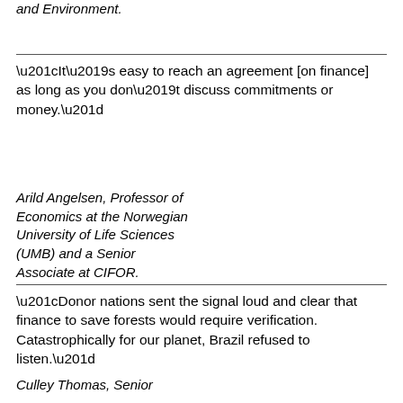and Environment.
“It’s easy to reach an agreement [on finance] as long as you don’t discuss commitments or money.”
Arild Angelsen, Professor of Economics at the Norwegian University of Life Sciences (UMB) and a Senior Associate at CIFOR.
“Donor nations sent the signal loud and clear that finance to save forests would require verification. Catastrophically for our planet, Brazil refused to listen.”
Culley Thomas, Senior